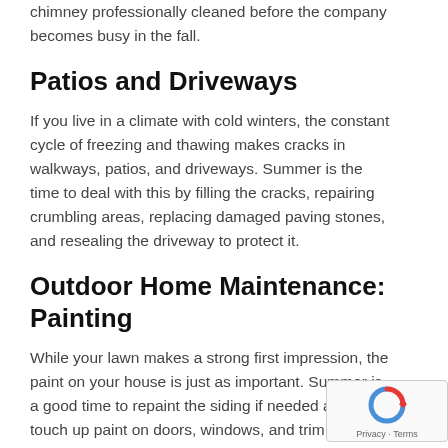chimney professionally cleaned before the company becomes busy in the fall.
Patios and Driveways
If you live in a climate with cold winters, the constant cycle of freezing and thawing makes cracks in walkways, patios, and driveways. Summer is the time to deal with this by filling the cracks, repairing crumbling areas, replacing damaged paving stones, and resealing the driveway to protect it.
Outdoor Home Maintenance: Painting
While your lawn makes a strong first impression, the paint on your house is just as important. Summer is a good time to repaint the siding if needed and to touch up paint on doors, windows, and trim. While repainting a full house is a big job, the touch-ups are a relatively bit of outdoor home maintenance that can have a